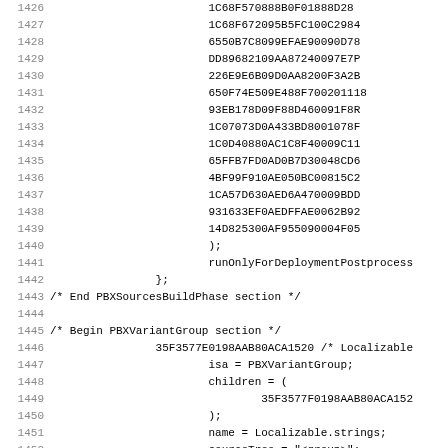Source code listing lines 1426-1458, Xcode project file (PBXSourcesBuildPhase and PBXVariantGroup sections)